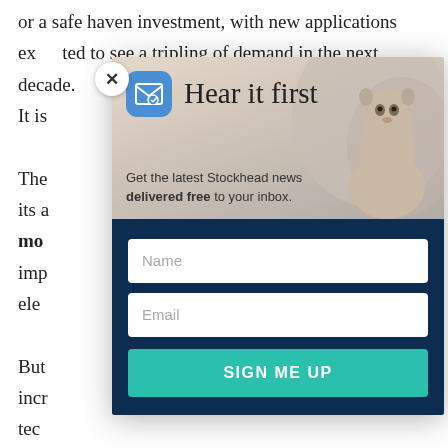or a safe haven investment, with new applications expected to see a tripling of demand in the next decade. It is
The ... for its a ... mo ... imp ... ele
But ... incr ... tec
Acc ... ind ... con ... ingly on s
[Figure (screenshot): Email newsletter signup modal overlay with 'Hear it first' heading, mail icon, meerkat/groundhog photo background, name and email input fields, and a teal 'SIGN ME UP' button on dark navy background.]